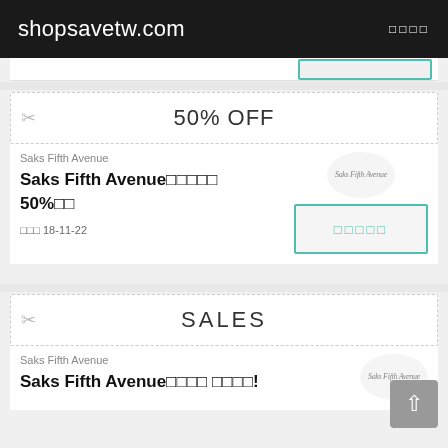shopsavetw.com
[Figure (other): Coupon strip with scissors icon and 50% OFF label]
Saks Fifth Avenue
Saks Fifth Avenue□□□□□ 50%□□
□□□ 18-11-22
[Figure (other): Coupon strip with scissors icon and SALES label]
Saks Fifth Avenue
Saks Fifth Avenue□□□□ □□□□!